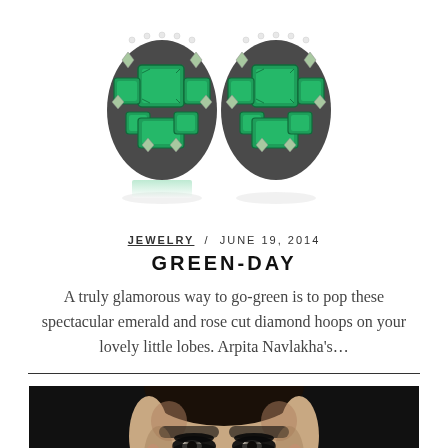[Figure (photo): Two emerald and rose cut diamond hoop earrings with green gemstones on white background]
JEWELRY / JUNE 19, 2014
GREEN-DAY
A truly glamorous way to go-green is to pop these spectacular emerald and rose cut diamond hoops on your lovely little lobes. Arpita Navlakha's...
[Figure (photo): Close-up portrait of a model with dramatic dark eye makeup and pulled-back hair against dark background]